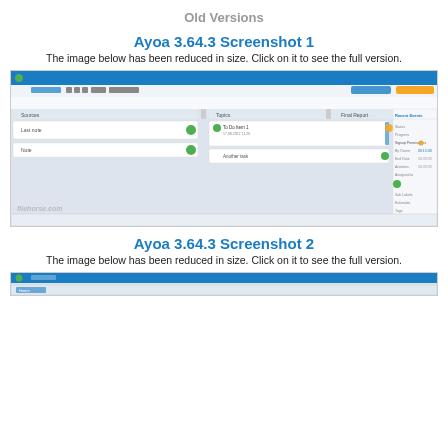Old Versions
Ayoa 3.64.3 Screenshot 1
The image below has been reduced in size. Click on it to see the full version.
[Figure (screenshot): Screenshot of Ayoa 3.64.3 application showing a task board interface with columns for tasks and notes, right-side panel with details, and filehorse.com watermark]
Ayoa 3.64.3 Screenshot 2
The image below has been reduced in size. Click on it to see the full version.
[Figure (screenshot): Partial screenshot of Ayoa 3.64.3 application showing the bottom taskbar area]